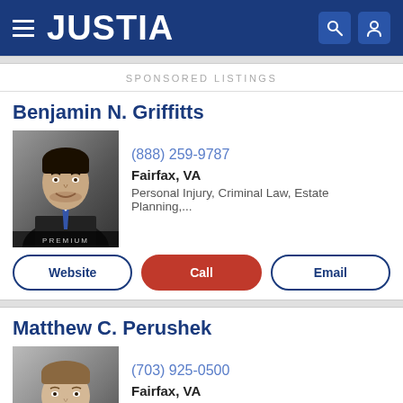JUSTIA
SPONSORED LISTINGS
Benjamin N. Griffitts
[Figure (photo): Professional headshot of Benjamin N. Griffitts, male attorney in dark suit and blue tie, with PREMIUM badge at bottom]
(888) 259-9787
Fairfax, VA
Personal Injury, Criminal Law, Estate Planning,...
Website | Call | Email
Matthew C. Perushek
[Figure (photo): Professional headshot of Matthew C. Perushek, male attorney in suit]
(703) 925-0500
Fairfax, VA
Personal Injury, Medical Malpractice, Product...